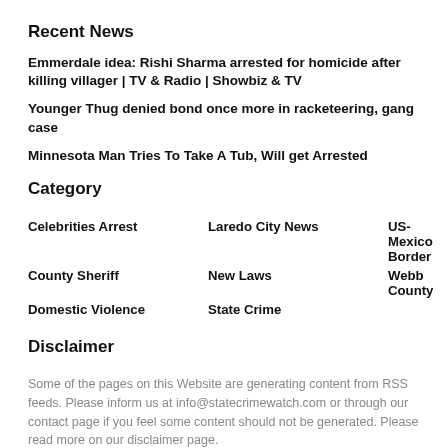Recent News
Emmerdale idea: Rishi Sharma arrested for homicide after killing villager | TV & Radio | Showbiz & TV
Younger Thug denied bond once more in racketeering, gang case
Minnesota Man Tries To Take A Tub, Will get Arrested
Category
Celebrities Arrest
Laredo City News
US-Mexico Border
County Sheriff
New Laws
Webb County
Domestic Violence
State Crime
Disclaimer
Some of the pages on this Website are generating content from RSS feeds. Please inform us at info@statecrimewatch.com or through our contact page if you feel some content should not be generated. Please read more on our disclaimer page.